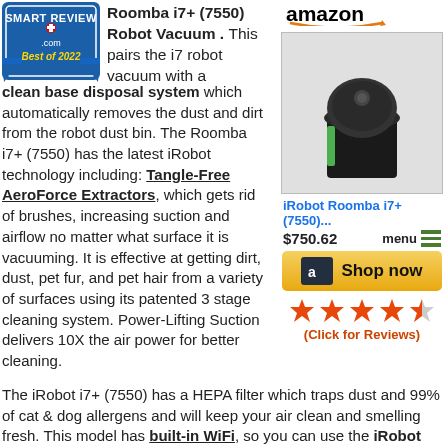[Figure (logo): Smart Review .com Best of 2022 badge with blue ribbon]
Roomba i7+ (7550) Robot Vacuum . This pairs the i7 robot vacuum with a clean base disposal system which automatically removes the dust and dirt from the robot dust bin. The Roomba i7+ (7550) has the latest iRobot technology including: Tangle-Free AeroForce Extractors, which gets rid of brushes, increasing suction and airflow no matter what surface it is vacuuming. It is effective at getting dirt, dust, pet fur, and pet hair from a variety of surfaces using its patented 3 stage cleaning system. Power-Lifting Suction delivers 10X the air power for better cleaning.
[Figure (photo): iRobot Roomba i7+ (7550) robot vacuum product photo on Amazon]
iRobot Roomba i7+ (7550)...
$750.62
menu
[Figure (infographic): Amazon Shop now button]
[Figure (infographic): 4.5 star rating - Click for Reviews]
The iRobot i7+ (7550) has a HEPA filter which traps dust and 99% of cat & dog allergens and will keep your air clean and smelling fresh. This model has built-in WiFi, so you can use the iRobot HOME App to control and schedule the Roomba i7+ (7550) for cleaning. This sophisticated robot vacuum has Dirt Detect™ Series 2 Technology uses both optical and acoustic sensors to identify dirtier areas and spends more time cleaning them. Using